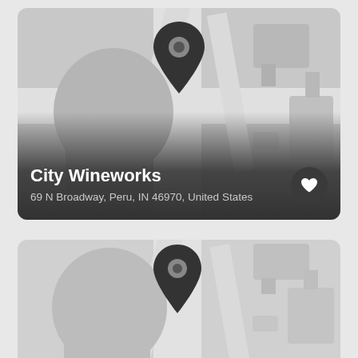[Figure (map): Card 1: Grayscale map background with a location pin marker centered. Below the map a dark gradient overlay shows business name and address.]
City Wineworks
69 N Broadway, Peru, IN 46970, United States
[Figure (map): Card 2: Grayscale map background with a location pin marker centered. Partial card visible at bottom of page.]